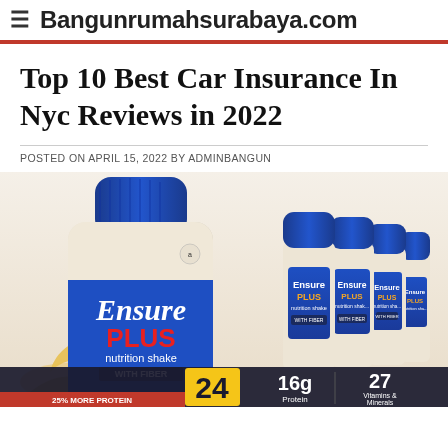≡ Bangunrumahsurabaya.com
Top 10 Best Car Insurance In Nyc Reviews in 2022
POSTED ON APRIL 15, 2022 BY ADMINBANGUN
[Figure (photo): Multiple bottles of Ensure Plus Nutrition Shake with Fiber arranged together, showing blue caps and labels. The front bottle is large and prominently displays 'Ensure PLUS nutrition shake WITH FIBER'. A dark banner at the bottom shows '24', '16g Protein', and '27 Vitamins & Minerals'. A red banner at the bottom reads '25% MORE PROTEIN'.]